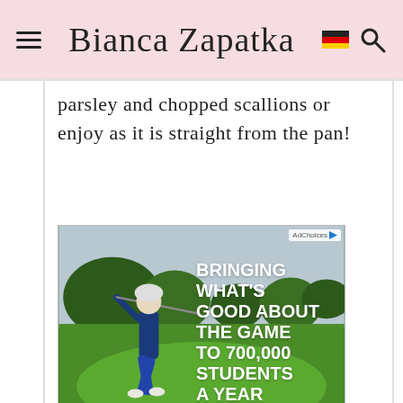Bianca Zapatka
parsley and chopped scallions or enjoy as it is straight from the pan!
[Figure (other): Advertisement for Southern Company: golfer swinging on green course, text 'BRINGING WHAT'S GOOD ABOUT THE GAME TO 700,000 STUDENTS A YEAR IN PARTNERSHIP WITH FIRST TEE', Southern Company logo, Learn More button, AdChoices badge.]